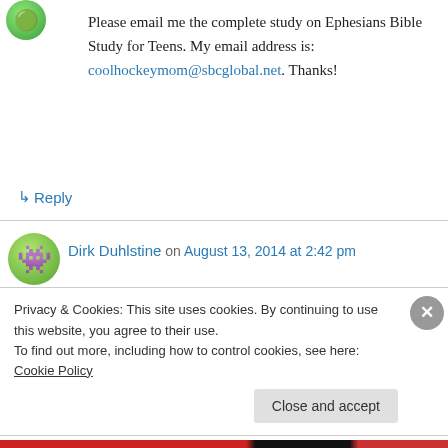[Figure (illustration): Green circular avatar icon at top left]
Please email me the complete study on Ephesians Bible Study for Teens. My email address is: coolhockeymom@sbcglobal.net. Thanks!
↳ Reply
[Figure (illustration): Green circular avatar with pink monster emoji for Dirk Duhlstine]
Dirk Duhlstine on August 13, 2014 at 2:42 pm
I would like a copy please and thank you!!!
dirkbird@cox.net
Privacy & Cookies: This site uses cookies. By continuing to use this website, you agree to their use.
To find out more, including how to control cookies, see here: Cookie Policy
Close and accept